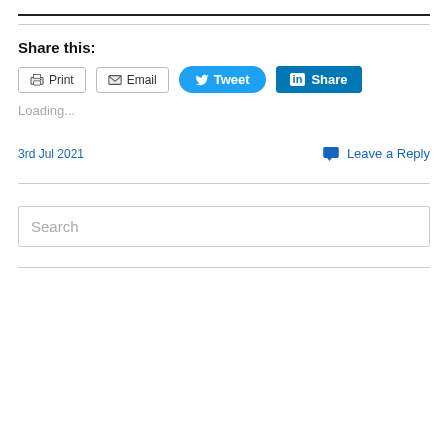Share this:
Print  Email  Tweet  Share
Loading...
3rd Jul 2021
Leave a Reply
Search